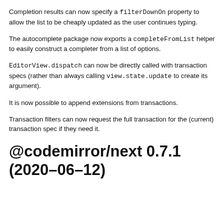Completion results can now specify a filterDownOn property to allow the list to be cheaply updated as the user continues typing.
The autocomplete package now exports a completeFromList helper to easily construct a completer from a list of options.
EditorView.dispatch can now be directly called with transaction specs (rather than always calling view.state.update to create its argument).
It is now possible to append extensions from transactions.
Transaction filters can now request the full transaction for the (current) transaction spec if they need it.
@codemirror/next 0.7.1 (2020-06-12)